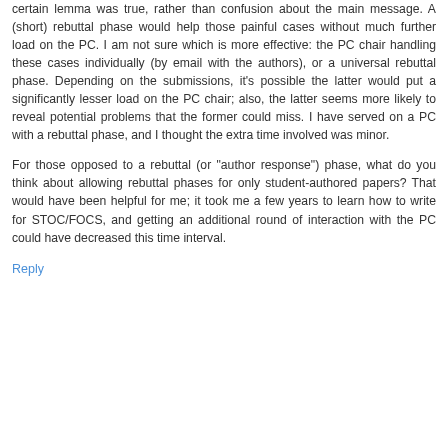certain lemma was true, rather than confusion about the main message. A (short) rebuttal phase would help those painful cases without much further load on the PC. I am not sure which is more effective: the PC chair handling these cases individually (by email with the authors), or a universal rebuttal phase. Depending on the submissions, it's possible the latter would put a significantly lesser load on the PC chair; also, the latter seems more likely to reveal potential problems that the former could miss. I have served on a PC with a rebuttal phase, and I thought the extra time involved was minor.
For those opposed to a rebuttal (or "author response") phase, what do you think about allowing rebuttal phases for only student-authored papers? That would have been helpful for me; it took me a few years to learn how to write for STOC/FOCS, and getting an additional round of interaction with the PC could have decreased this time interval.
Reply